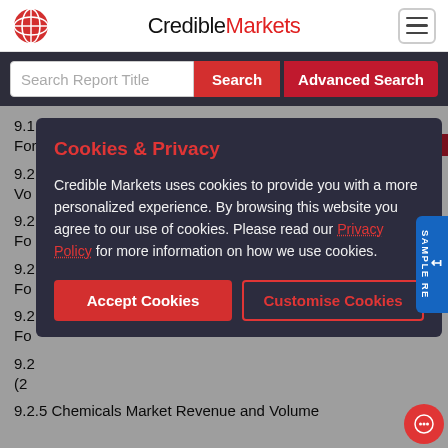CredibleMarkets
Search Report Title
9.1.6 Solar Services Market Revenue and Volume Forecast (2021-2026)
9.2 [partially visible content items]
9.2.5 Chemicals Market Revenue and Volume
Cookies & Privacy
Credible Markets uses cookies to provide you with a more personalized experience. By browsing this website you agree to our use of cookies. Please read our Privacy Policy for more information on how we use cookies.
Accept Cookies
Customise Cookies